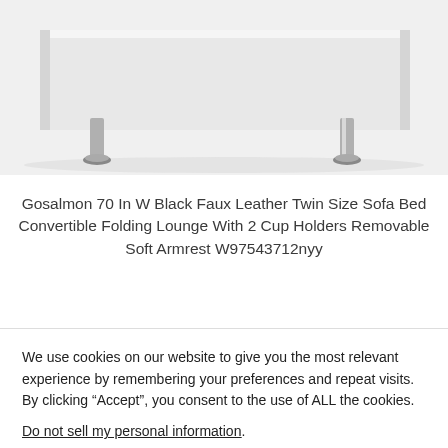[Figure (photo): Partial view of a white/grey sofa bed or furniture piece with a chrome metal leg visible, shown from below on a light grey background.]
Gosalmon 70 In W Black Faux Leather Twin Size Sofa Bed Convertible Folding Lounge With 2 Cup Holders Removable Soft Armrest W97543712nyy
We use cookies on our website to give you the most relevant experience by remembering your preferences and repeat visits. By clicking “Accept”, you consent to the use of ALL the cookies.
Do not sell my personal information.
Cookie Settings
Accept